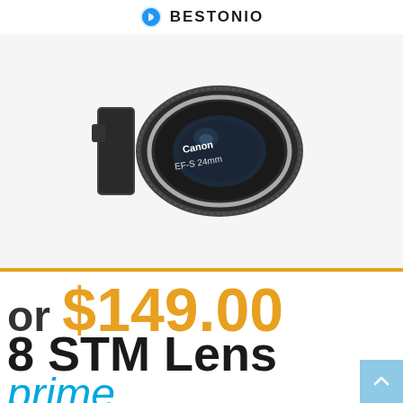BESTONIO
[Figure (photo): Canon EF-S 24mm STM lens photographed from a slight angle, showing the front element and barrel markings 'Canon EF-S 24mm'. The lens is black with a silver ring, on a light gray background.]
or $149.00
8 STM Lens
prime